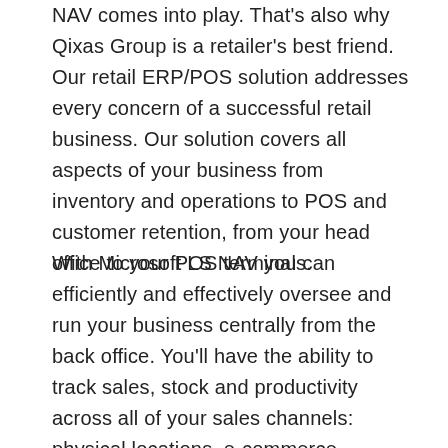NAV comes into play. That's also why Qixas Group is a retailer's best friend. Our retail ERP/POS solution addresses every concern of a successful retail business. Our solution covers all aspects of your business from inventory and operations to POS and customer retention, from your head office to your POS terminals.
With Microsoft LS NAV you can efficiently and effectively oversee and run your business centrally from the back office. You'll have the ability to track sales, stock and productivity across all of your sales channels: physical locations, e-commerce platforms, mobile apps. When circumstance change, you can react quickly, thereby minimizing your risks and